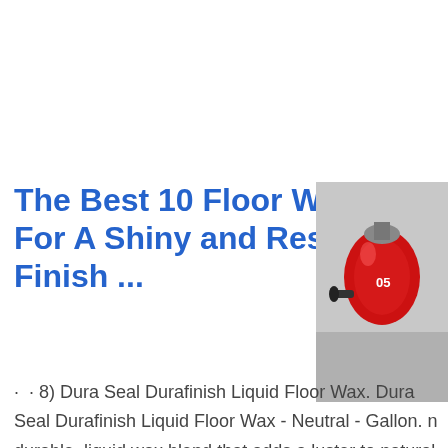The Best 10 Floor Waxes For A Shiny and Resilient Finish ...
[Figure (photo): Photo of a small red decorative object (possibly a wax or figurine) on a grey surface, partially visible on the right side of the page.]
·  · 8) Dura Seal Durafinish Liquid Floor Wax. Dura Seal Durafinish Liquid Floor Wax - Neutral - Gallon. n durable, liquid wax blend that adds a luster to natural. May be used as fi or as a maintenance product to resto and shine to worn wax.